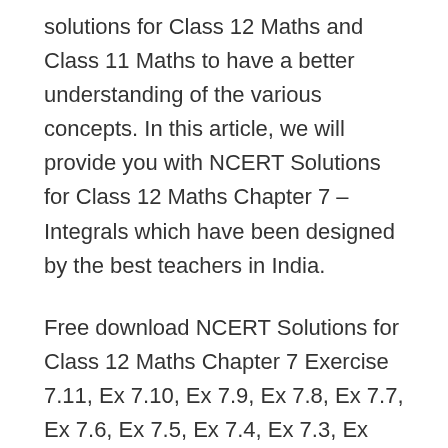solutions for Class 12 Maths and Class 11 Maths to have a better understanding of the various concepts. In this article, we will provide you with NCERT Solutions for Class 12 Maths Chapter 7 – Integrals which have been designed by the best teachers in India.
Free download NCERT Solutions for Class 12 Maths Chapter 7 Exercise 7.11, Ex 7.10, Ex 7.9, Ex 7.8, Ex 7.7, Ex 7.6, Ex 7.5, Ex 7.4, Ex 7.3, Ex 7.2, Ex 7.1 Integrals PDF in Hindi Medium as well as in English Medium for CBSE, Uttarakhand, Bihar, MP Board, Gujarat Board, BIE, Intermediate and UP Board students, who